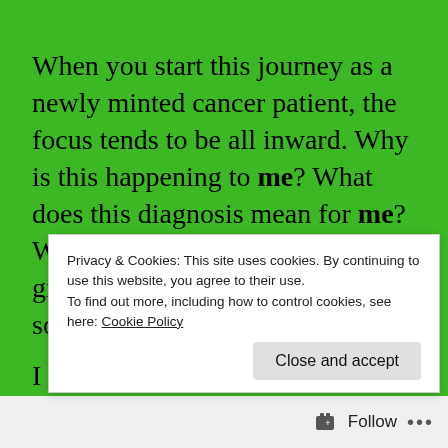When you start this journey as a newly minted cancer patient, the focus tends to be all inward. Why is this happening to me? What does this diagnosis mean for me? What treatments will the doctors give me? Can they cure me? And so on.
I believe that's driven by our deep-seated,
Privacy & Cookies: This site uses cookies. By continuing to use this website, you agree to their use. To find out more, including how to control cookies, see here: Cookie Policy
Close and accept
Follow ···